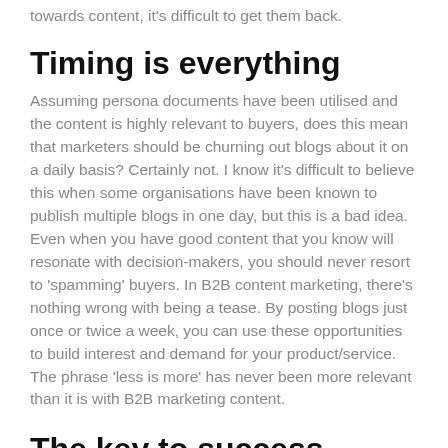towards content, it's difficult to get them back.
Timing is everything
Assuming persona documents have been utilised and the content is highly relevant to buyers, does this mean that marketers should be churning out blogs about it on a daily basis? Certainly not. I know it's difficult to believe this when some organisations have been known to publish multiple blogs in one day, but this is a bad idea. Even when you have good content that you know will resonate with decision-makers, you should never resort to 'spamming' buyers. In B2B content marketing, there's nothing wrong with being a tease. By posting blogs just once or twice a week, you can use these opportunities to build interest and demand for your product/service. The phrase 'less is more' has never been more relevant than it is with B2B marketing content.
The key to success